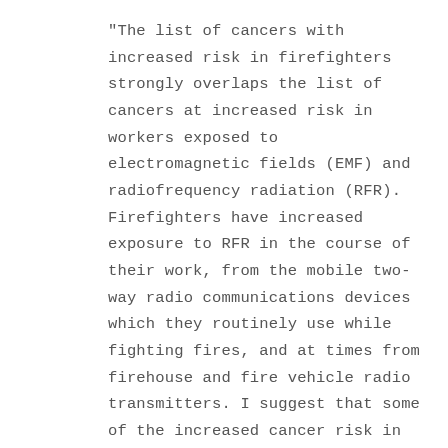"The list of cancers with increased risk in firefighters strongly overlaps the list of cancers at increased risk in workers exposed to electromagnetic fields (EMF) and radiofrequency radiation (RFR). Firefighters have increased exposure to RFR in the course of their work, from the mobile two-way radio communications devices which they routinely use while fighting fires, and at times from firehouse and fire vehicle radio transmitters. I suggest that some of the increased cancer risk in firefighters is caused by RFR exposure, and is therefore preventable. The precautionary principle should be applied to reduce the risk of cancer in firefighters, and workman's